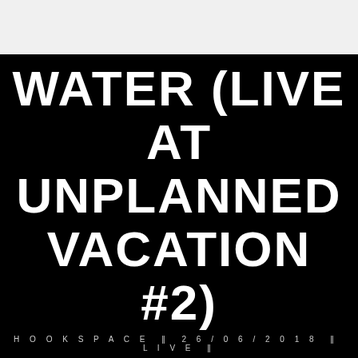WATER (LIVE AT UNPLANNED VACATION #2)
HOOKSPACE | 26/06/2018 | LIVE |
Daftar Isi
1 Lirik
2 Rubah Di Selatan
2.1 Mallindazky
2.2 Gilang Wahyu Apriliawan
2.3 Ronie Udara
2.4 Muh. Adnan    MAY93N5z7Io